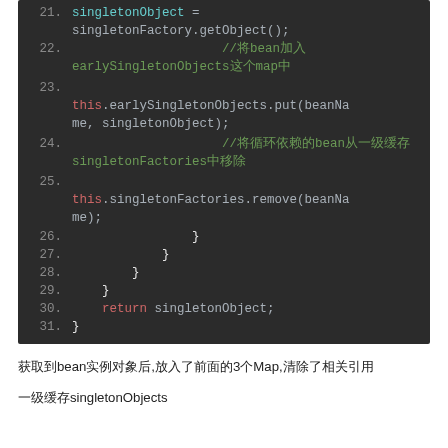[Figure (screenshot): Dark-themed code editor screenshot showing Java code lines 21-31 with syntax highlighting. Line 21: singletonObject = singletonFactory.getObject(); Line 22: comment about bean and earlySingletonObjects map. Line 23: this.earlySingletonObjects.put(beanName, singletonObject); Line 24: comment about bean and singletonFactories. Line 25: this.singletonFactories.remove(beanName); Line 26-31: closing braces and return singletonObject;]
获取到bean实例对象后,放入了前面的3个Map,清除了相关引用
一级缓存singletonObjects